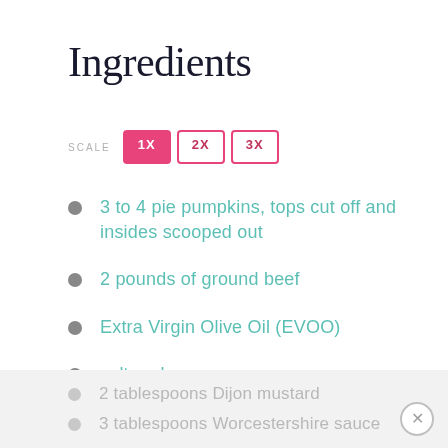Ingredients
SCALE 1X 2X 3X
3 to 4 pie pumpkins, tops cut off and insides scooped out
2 pounds of ground beef
Extra Virgin Olive Oil (EVOO)
salt and pepper
1 teaspoon garlic powder
2 (8 oz) cans tomato sauce
2 tablespoons Dijon mustard
3 tablespoons Worcestershire sauce